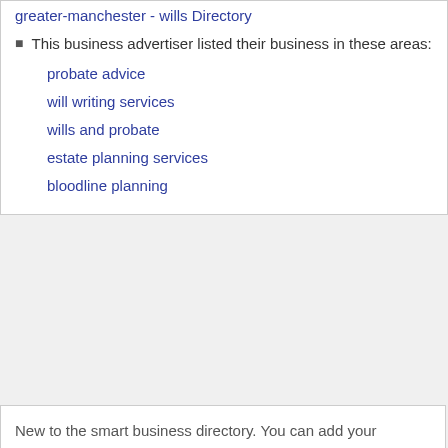greater-manchester - Wills Directory
This business advertiser listed their business in these areas:
probate advice
will writing services
wills and probate
estate planning services
bloodline planning
New to the smart business directory. You can add your business to our w